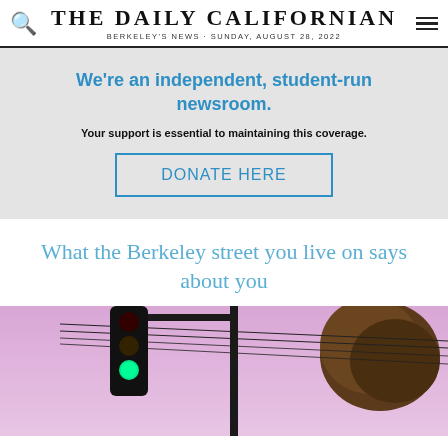THE DAILY CALIFORNIAN — BERKELEY'S NEWS · SUNDAY, AUGUST 28, 2022
We're an independent, student-run newsroom. Your support is essential to maintaining this coverage. DONATE HERE
What the Berkeley street you live on says about you
[Figure (photo): Photo of a traffic light with a green signal showing, against a pink/purple sky, with power lines and a tree visible in the background]